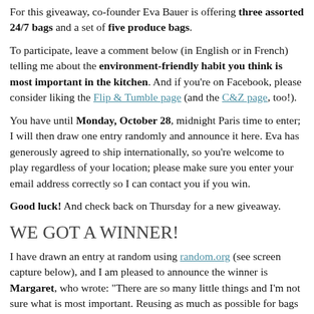For this giveaway, co-founder Eva Bauer is offering three assorted 24/7 bags and a set of five produce bags.
To participate, leave a comment below (in English or in French) telling me about the environment-friendly habit you think is most important in the kitchen. And if you're on Facebook, please consider liking the Flip & Tumble page (and the C&Z page, too!).
You have until Monday, October 28, midnight Paris time to enter; I will then draw one entry randomly and announce it here. Eva has generously agreed to ship internationally, so you're welcome to play regardless of your location; please make sure you enter your email address correctly so I can contact you if you win.
Good luck! And check back on Thursday for a new giveaway.
WE GOT A WINNER!
I have drawn an entry at random using random.org (see screen capture below), and I am pleased to announce the winner is Margaret, who wrote: “There are so many little things and I’m not sure what is most important. Reusing as much as possible for bags